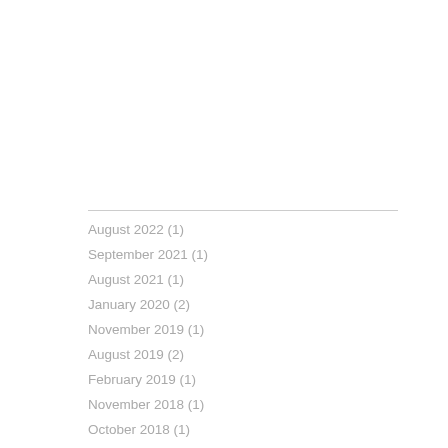August 2022 (1)
September 2021 (1)
August 2021 (1)
January 2020 (2)
November 2019 (1)
August 2019 (2)
February 2019 (1)
November 2018 (1)
October 2018 (1)
July 2018 (1)